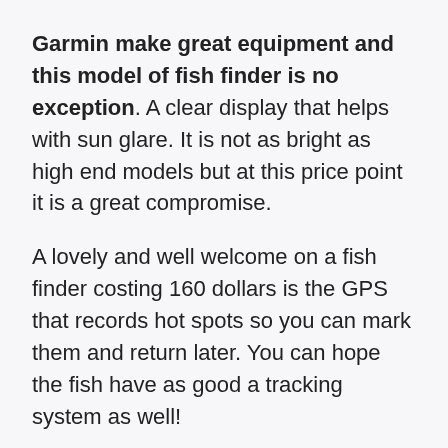Garmin make great equipment and this model of fish finder is no exception. A clear display that helps with sun glare. It is not as bright as high end models but at this price point it is a great compromise.
A lovely and well welcome on a fish finder costing 160 dollars is the GPS that records hot spots so you can mark them and return later. You can hope the fish have as good a tracking system as well!
It will likely weight less than your reel at 230g which makes it great for kayak fishing. Light weight and small form are very much needed when you are waving rods about.